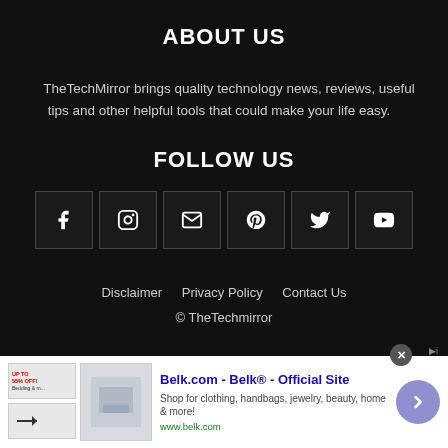ABOUT US
TheTechMirror brings quality technology news, reviews, useful tips and other helpful tools that could make your life easy.
FOLLOW US
[Figure (infographic): Six social media icon buttons in bordered boxes: Facebook (f), Instagram (circle icon), Email (envelope), Pinterest (P), Twitter (bird), YouTube (play button)]
Disclaimer   Privacy Policy   Contact Us
© TheTechmirror
[Figure (infographic): Advertisement banner for Belk.com - Belk® - Official Site. Shop for clothing, handbags, jewelry, beauty, home & more! www.belk.com]